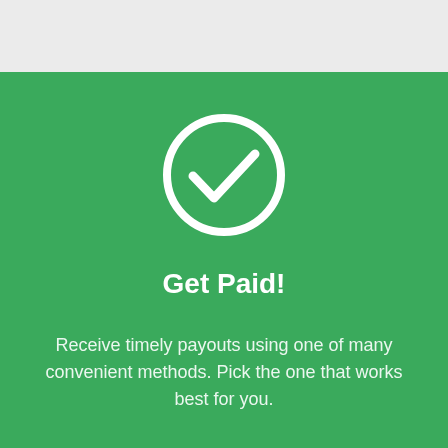[Figure (illustration): White checkmark inside a white circle outline on green background]
Get Paid!
Receive timely payouts using one of many convenient methods. Pick the one that works best for you.